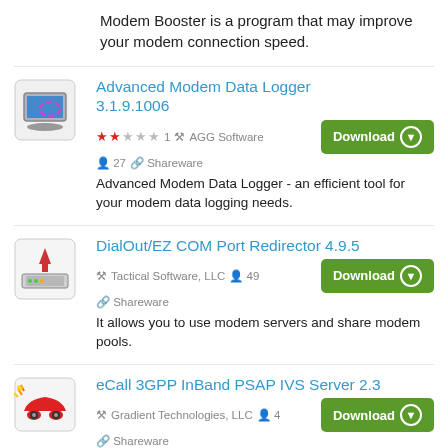Modem Booster is a program that may improve your modem connection speed.
Advanced Modem Data Logger 3.1.9.1006 — ★★☆☆☆ 1 · AGG Software · 27 users · Shareware — Download
Advanced Modem Data Logger - an efficient tool for your modem data logging needs.
DialOut/EZ COM Port Redirector 4.9.5 — Tactical Software, LLC · 49 users · Shareware — Download
It allows you to use modem servers and share modem pools.
eCall 3GPP InBand PSAP IVS Server 2.3 — Gradient Technologies, LLC · 4 users · Shareware — Download
eCall PSAP and 3GPP Inband Modem Server